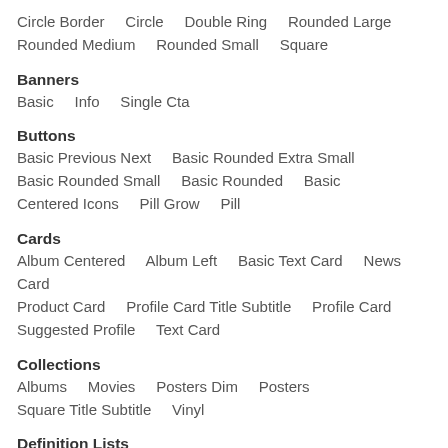Circle Border    Circle    Double Ring    Rounded Large
Rounded Medium    Rounded Small    Square
Banners
Basic    Info    Single Cta
Buttons
Basic Previous Next    Basic Rounded Extra Small
Basic Rounded Small    Basic Rounded    Basic
Centered Icons    Pill Grow    Pill
Cards
Album Centered    Album Left    Basic Text Card    News Card
Product Card    Profile Card Title Subtitle    Profile Card
Suggested Profile    Text Card
Collections
Albums    Movies    Posters Dim    Posters
Square Title Subtitle    Vinyl
Definition Lists